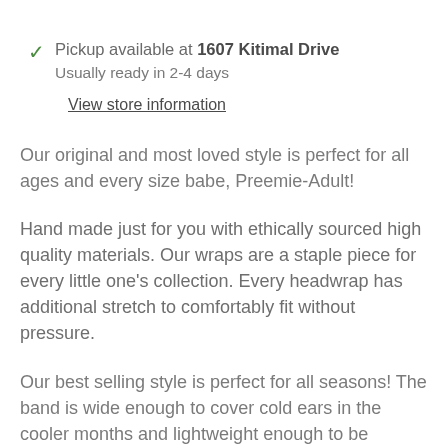Pickup available at 1607 Kitimal Drive
Usually ready in 2-4 days
View store information
Our original and most loved style is perfect for all ages and every size babe, Preemie-Adult!
Hand made just for you with ethically sourced high quality materials. Our wraps are a staple piece for every little one's collection. Every headwrap has additional stretch to comfortably fit without pressure.
Our best selling style is perfect for all seasons! The band is wide enough to cover cold ears in the cooler months and lightweight enough to be